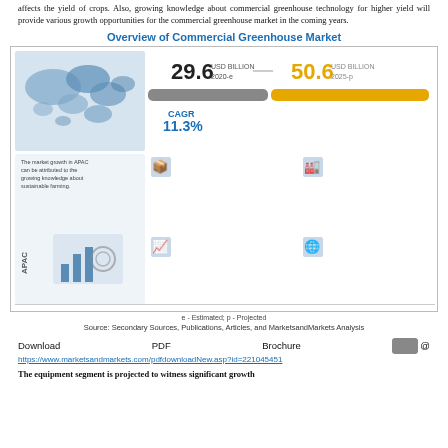affects the yield of crops. Also, growing knowledge about commercial greenhouse technology for higher yield will provide various growth opportunities for the commercial greenhouse market in the coming years.
[Figure (infographic): Infographic showing commercial greenhouse market overview: 29.6 USD Billion in 2020-e, 50.6 USD Billion in 2025-p, CAGR of 11.3%. Includes world map highlighting APAC, bar chart showing growth bars, and bullet points describing market drivers and opportunities.]
e - Estimated; p - Projected
Source: Secondary Sources, Publications, Articles, and MarketsandMarkets Analysis
Download   PDF   Brochure   @
https://www.marketsandmarkets.com/pdfdownloadNew.asp?id=221045451
The equipment segment is projected to witness significant growth